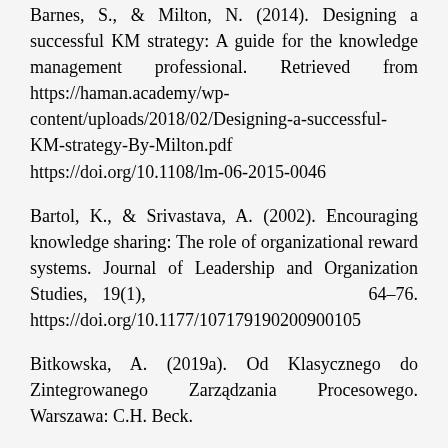Barnes, S., & Milton, N. (2014). Designing a successful KM strategy: A guide for the knowledge management professional. Retrieved from https://haman.academy/wp-content/uploads/2018/02/Designing-a-successful-KM-strategy-By-Milton.pdf https://doi.org/10.1108/lm-06-2015-0046
Bartol, K., & Srivastava, A. (2002). Encouraging knowledge sharing: The role of organizational reward systems. Journal of Leadership and Organization Studies, 19(1), 64–76. https://doi.org/10.1177/10717919020090oo105
Bitkowska, A. (2019a). Od Klasycznego do Zintegrowanego Zarządzania Procesowego. Warszawa: C.H. Beck.
Bitkowska A., (2019b). Business process management vs modeling of the process of knowledge management in contemporary enterprises. In C. Di Ciccio, R. Gabryelczyk, L. Garcia-Bañuelos, T. Hernaus, R.I. Hull, M. Stemberger et al. (Eds.), Business Process Management: Blockchain and Central and Eastern Europe Forum. Lecture